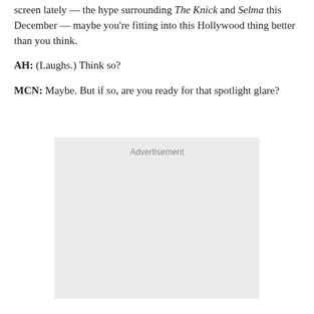screen lately — the hype surrounding The Knick and Selma this December — maybe you're fitting into this Hollywood thing better than you think.
AH: (Laughs.) Think so?
MCN: Maybe. But if so, are you ready for that spotlight glare?
[Figure (other): Advertisement placeholder box with light gray background and 'Advertisement' label at the top center.]